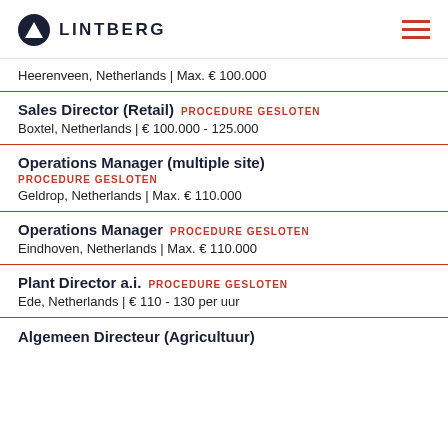LINTBERG
Heerenveen, Netherlands | Max. € 100.000
Sales Director (Retail) PROCEDURE GESLOTEN
Boxtel, Netherlands | € 100.000 - 125.000
Operations Manager (multiple site)
PROCEDURE GESLOTEN
Geldrop, Netherlands | Max. € 110.000
Operations Manager PROCEDURE GESLOTEN
Eindhoven, Netherlands | Max. € 110.000
Plant Director a.i. PROCEDURE GESLOTEN
Ede, Netherlands | € 110 - 130 per uur
Algemeen Directeur (Agricultuur)